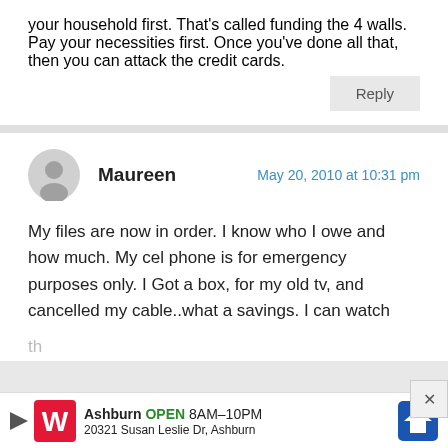your household first. That's called funding the 4 walls. Pay your necessities first. Once you've done all that, then you can attack the credit cards.
Reply
Maureen
May 20, 2010 at 10:31 pm
My files are now in order. I know who I owe and how much. My cel phone is for emergency purposes only. I Got a box, for my old tv, and cancelled my cable..what a savings. I can watch th
Ashburn OPEN 8AM–10PM 20321 Susan Leslie Dr, Ashburn